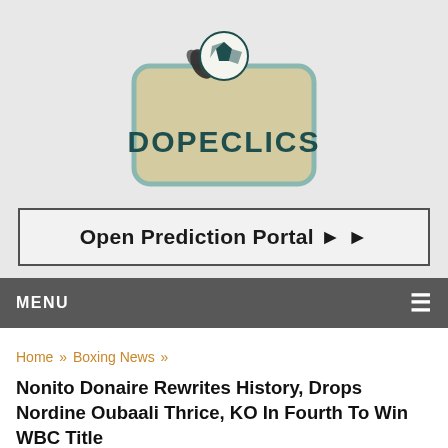[Figure (logo): Dopeclics logo with a flaming soccer ball icon above stylized text 'DOPECLICS' in dark teal on a tan/beige badge with teal border, set on a light grey background]
Open Prediction Portal ► ►
MENU ≡
Home » Boxing News »
Nonito Donaire Rewrites History, Drops Nordine Oubaali Thrice, KO In Fourth To Win WBC Title
Nonito Donaire Rewrites...